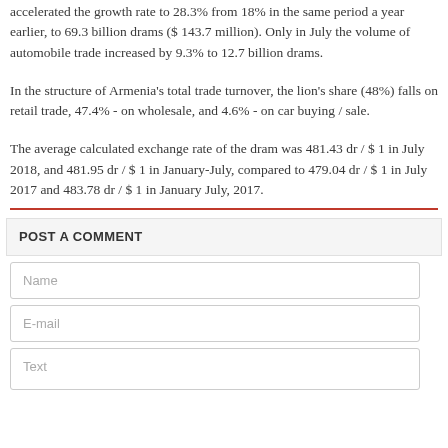accelerated the growth rate to 28.3% from 18% in the same period a year earlier, to 69.3 billion drams ($ 143.7 million). Only in July the volume of automobile trade increased by 9.3% to 12.7 billion drams.
In the structure of Armenia's total trade turnover, the lion's share (48%) falls on retail trade, 47.4% - on wholesale, and 4.6% - on car buying / sale.
The average calculated exchange rate of the dram was 481.43 dr / $ 1 in July 2018, and 481.95 dr / $ 1 in January-July, compared to 479.04 dr / $ 1 in July 2017 and 483.78 dr / $ 1 in January July, 2017.
POST A COMMENT
Name
E-mail
Text